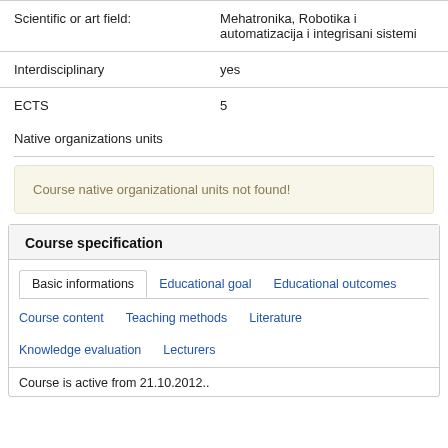|  |  |
| --- | --- |
| Scientific or art field: | Mehatronika, Robotika i automatizacija i integrisani sistemi |
| Interdisciplinary | yes |
| ECTS | 5 |
Native organizations units
Course native organizational units not found!
Course specification
Basic informations   Educational goal   Educational outcomes   Course content   Teaching methods   Literature   Knowledge evaluation   Lecturers
Course is active from 21.10.2012..